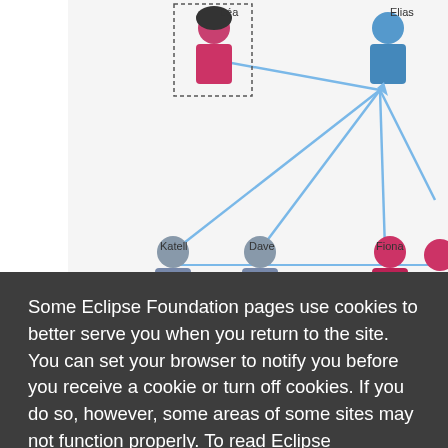[Figure (screenshot): Network graph screenshot showing nodes labeled Léa, Elias, Katell, Dave, Fiona and more, connected by blue arrows, partially visible behind cookie consent overlay]
Some Eclipse Foundation pages use cookies to better serve you when you return to the site. You can set your browser to notify you before you receive a cookie or turn off cookies. If you do so, however, some areas of some sites may not function properly. To read Eclipse Foundation Privacy Policy click here.
Decline
Allow cookies